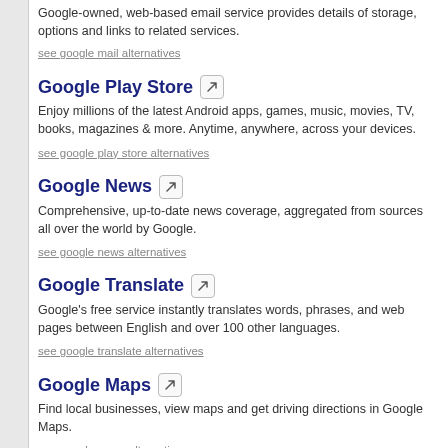Google-owned, web-based email service provides details of storage, options and links to related services.
see google mail alternatives
Google Play Store
Enjoy millions of the latest Android apps, games, music, movies, TV, books, magazines & more. Anytime, anywhere, across your devices.
see google play store alternatives
Google News
Comprehensive, up-to-date news coverage, aggregated from sources all over the world by Google.
see google news alternatives
Google Translate
Google's free service instantly translates words, phrases, and web pages between English and over 100 other languages.
see google translate alternatives
Google Maps
Find local businesses, view maps and get driving directions in Google Maps.
see google maps alternatives
Google PageSpeed Insights
Measure performance of a page for mobile & desktop devices.
see google pagespeed insights alternatives